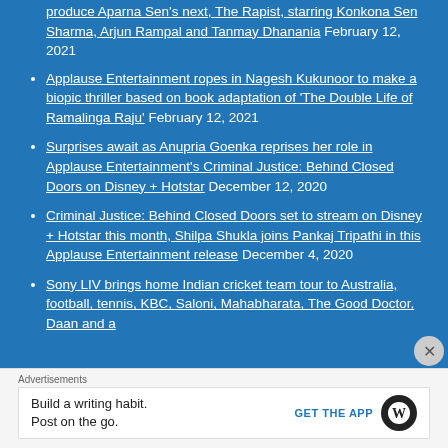produce Aparna Sen's next, The Rapist, starring Konkona Sen Sharma, Arjun Rampal and Tanmay Dhanania February 12, 2021
Applause Entertainment ropes in Nagesh Kukunoor to make a biopic thriller based on book adaptation of 'The Double Life of Ramalinga Raju' February 12, 2021
Surprises await as Anupria Goenka reprises her role in Applause Entertainment's Criminal Justice: Behind Closed Doors on Disney + Hotstar December 12, 2020
Criminal Justice: Behind Closed Doors set to stream on Disney + Hotstar this month, Shilpa Shukla joins Pankaj Tripathi in this Applause Entertainment release December 4, 2020
Sony LIV brings home Indian cricket team tour to Australia, football, tennis, KBC, Saloni, Mahabharata, The Good Doctor, Daan and a
Advertisements
Build a writing habit. Post on the go. GET THE APP